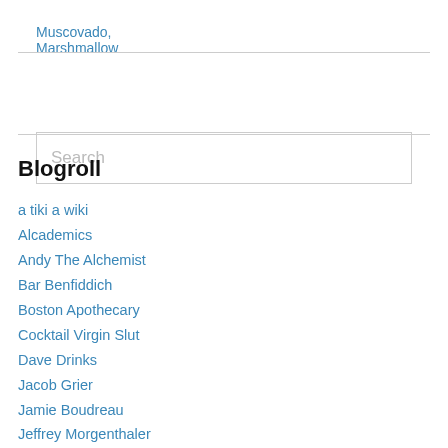Muscovado, Marshmallow
Search
Blogroll
a tiki a wiki
Alcademics
Andy The Alchemist
Bar Benfiddich
Boston Apothecary
Cocktail Virgin Slut
Dave Drinks
Jacob Grier
Jamie Boudreau
Jeffrey Morgenthaler
Kaiser Penguin